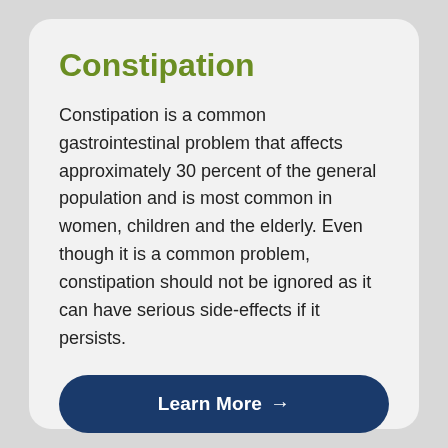Constipation
Constipation is a common gastrointestinal problem that affects approximately 30 percent of the general population and is most common in women, children and the elderly. Even though it is a common problem, constipation should not be ignored as it can have serious side-effects if it persists.
Learn More →